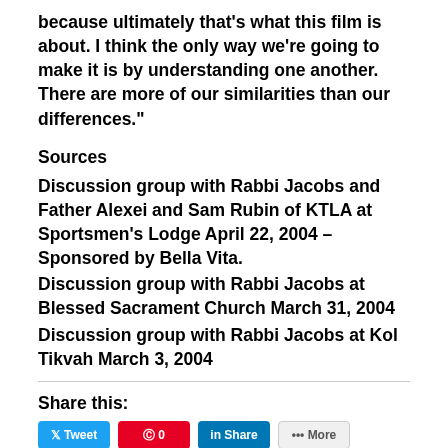because ultimately that’s what this film is about. I think the only way we’re going to make it is by understanding one another. There are more of our similarities than our differences.”
Sources
Discussion group with Rabbi Jacobs and Father Alexei and Sam Rubin of KTLA at Sportsmen’s Lodge April 22, 2004 – Sponsored by Bella Vita.
Discussion group with Rabbi Jacobs at Blessed Sacrament Church March 31, 2004
Discussion group with Rabbi Jacobs at Kol Tikvah March 3, 2004
Share this: